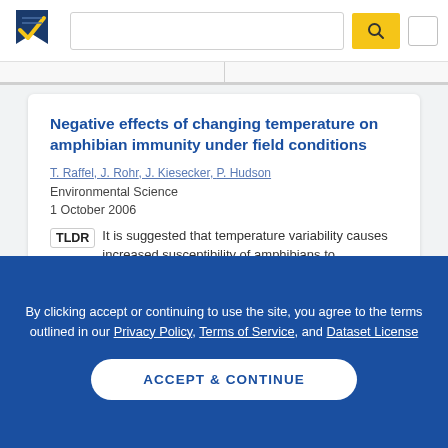[Figure (logo): Semantic Scholar logo — stylized navy/gold book mark icon]
Negative effects of changing temperature on amphibian immunity under field conditions
T. Raffel, J. Rohr, J. Kiesecker, P. Hudson
Environmental Science
1 October 2006
TLDR  It is suggested that temperature variability causes increased susceptibility of amphibians to
By clicking accept or continuing to use the site, you agree to the terms outlined in our Privacy Policy, Terms of Service, and Dataset License
ACCEPT & CONTINUE